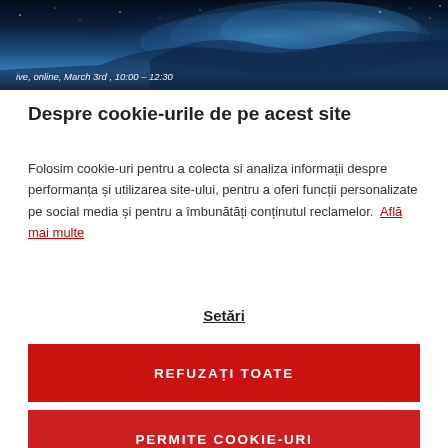[Figure (photo): Nebula or space image with blue-toned clouds and stars, with overlaid italic text: 'ive, online, March 3rd, 10:00 - 12:30']
Despre cookie-urile de pe acest site
Folosim cookie-uri pentru a colecta si analiza informații despre performanța și utilizarea site-ului, pentru a oferi funcții personalizate pe social media și pentru a îmbunătăți conținutul reclamelor. Află mai multe
Setări
REFUZAȚI TOATE
PERMITE COOKIE-URI